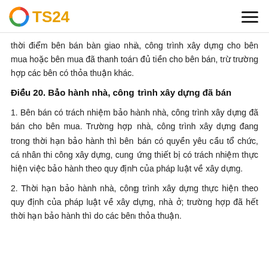TS24
thời điểm bên bán bàn giao nhà, công trình xây dựng cho bên mua hoặc bên mua đã thanh toán đủ tiền cho bên bán, trừ trường hợp các bên có thỏa thuận khác.
Điều 20. Bảo hành nhà, công trình xây dựng đã bán
1. Bên bán có trách nhiệm bảo hành nhà, công trình xây dựng đã bán cho bên mua. Trường hợp nhà, công trình xây dựng đang trong thời hạn bảo hành thì bên bán có quyền yêu cầu tổ chức, cá nhân thi công xây dựng, cung ứng thiết bị có trách nhiệm thực hiện việc bảo hành theo quy định của pháp luật về xây dựng.
2. Thời hạn bảo hành nhà, công trình xây dựng thực hiện theo quy định của pháp luật về xây dựng, nhà ở; trường hợp đã hết thời hạn bảo hành thì do các bên thỏa thuận.